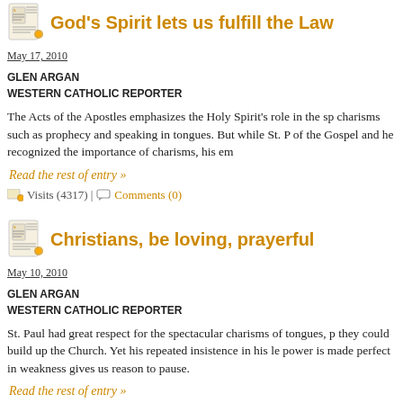God's Spirit lets us fulfill the Law
May 17, 2010
GLEN ARGAN
WESTERN CATHOLIC REPORTER
The Acts of the Apostles emphasizes the Holy Spirit's role in the sp charisms such as prophecy and speaking in tongues. But while St. P of the Gospel and he recognized the importance of charisms, his em
Read the rest of entry »
Visits (4317) | Comments (0)
Christians, be loving, prayerful
May 10, 2010
GLEN ARGAN
WESTERN CATHOLIC REPORTER
St. Paul had great respect for the spectacular charisms of tongues, p they could build up the Church. Yet his repeated insistence in his le power is made perfect in weakness gives us reason to pause.
Read the rest of entry »
Visits (3691) | Comments (0)